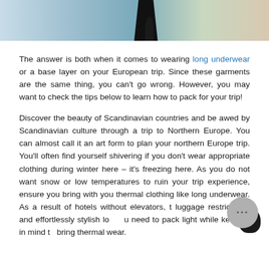[Figure (photo): Cropped photo showing a person in dark clothing standing in a winter/snowy outdoor setting, with trees or structures visible in the background.]
The answer is both when it comes to wearing long underwear or a base layer on your European trip. Since these garments are the same thing, you can't go wrong. However, you may want to check the tips below to learn how to pack for your trip!
Discover the beauty of Scandinavian countries and be awed by Scandinavian culture through a trip to Northern Europe. You can almost call it an art form to plan your northern Europe trip. You'll often find yourself shivering if you don't wear appropriate clothing during winter here – it's freezing here. As you do not want snow or low temperatures to ruin your trip experience, ensure you bring with you thermal clothing like long underwear. As a result of hotels without elevators, luggage restrictions, and effortlessly stylish locals, you need to pack light while keeping in mind to bring thermal wear.